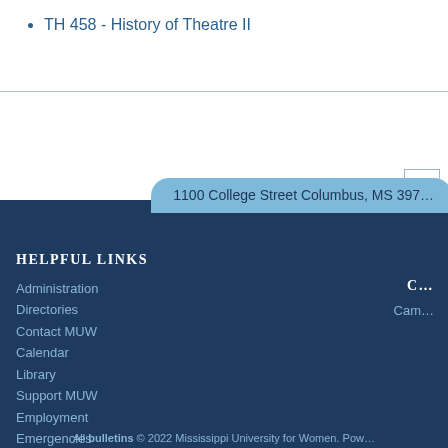TH 458 - History of Theatre II
1100 College Street Columbus, MS 397...
HELPFUL LINKS
Administration
Directories
Contact MUW
Calendar
Library
Support MUW
Employment
Emergencies
Disclosures
Non-Discrimination Policy
C...
Cam...
All bulletins © 2022 Mississippi University for Women. Pow...